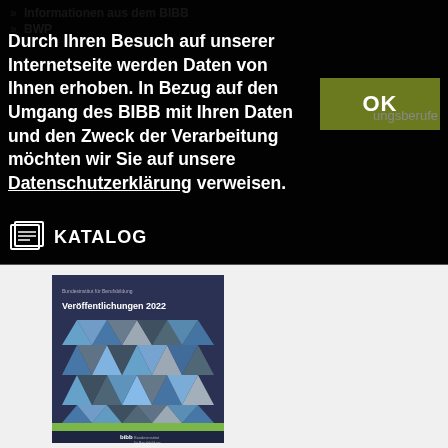» Informationen aus dem BIBB
» BWP
Durch Ihren Besuch auf unserer Internetseite werden Daten von Ihnen erhoben. In Bezug auf den Umgang des BIBB mit Ihren Daten und den Zweck der Verarbeitung möchten wir Sie auf unsere Datenschutzerklärung verweisen.
OK
ungsberufe
KATALOG
[Figure (photo): Book cover: Veröffentlichungen 2022, BIBB publication catalog with geometric triangle pattern in blue, grey and green tones on dark navy background, bibb logo at bottom]